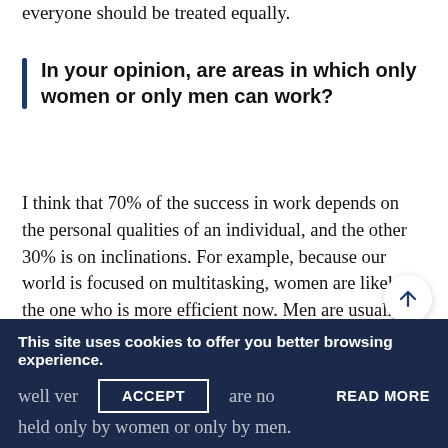everyone should be treated equally.
In your opinion, are areas in which only women or only men can work?
I think that 70% of the success in work depends on the personal qualities of an individual, and the other 30% is on inclinations. For example, because our world is focused on multitasking, women are likely the one who is more efficient now. Men are usually more inclined to precise tasks that require deep concentration and immersion. However, it is noting that there are women, even in our co... well versed in IT, are no... that can be held only by women or only by men.
This site uses cookies to offer you better browsing experience.
ACCEPT
READ MORE